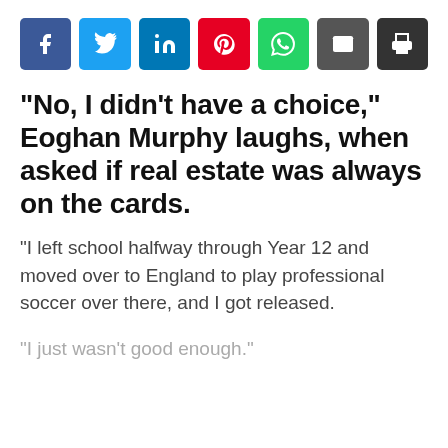[Figure (infographic): Social sharing buttons row: Facebook (blue), Twitter (cyan), LinkedIn (blue), Pinterest (red), WhatsApp (green), Email (dark grey), Print (dark grey)]
“No, I didn’t have a choice,” Eoghan Murphy laughs, when asked if real estate was always on the cards.
“I left school halfway through Year 12 and moved over to England to play professional soccer over there, and I got released.
“I just wasn’t good enough.”